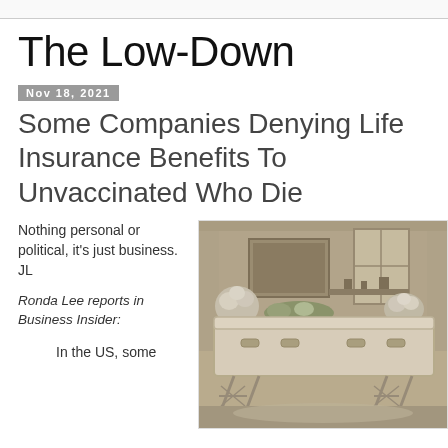The Low-Down
Nov 18, 2021
Some Companies Denying Life Insurance Benefits To Unvaccinated Who Die
Nothing personal or political, it's just business. JL
Ronda Lee reports in Business Insider:
In the US, some
[Figure (photo): Vintage sepia-toned photograph of a casket with floral arrangements in a funeral parlor setting, displayed on a stand.]